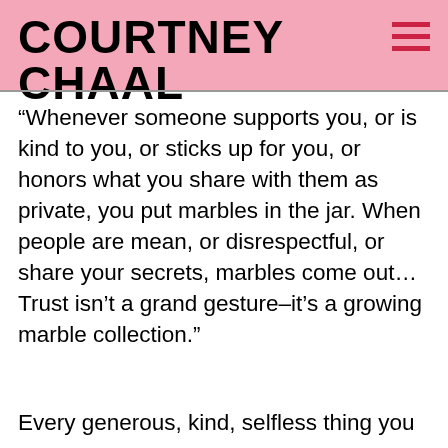COURTNEY CHAAL
“Whenever someone supports you, or is kind to you, or sticks up for you, or honors what you share with them as private, you put marbles in the jar. When people are mean, or disrespectful, or share your secrets, marbles come out… Trust isn’t a grand gesture–it’s a growing marble collection.”
Every generous, kind, selfless thing you